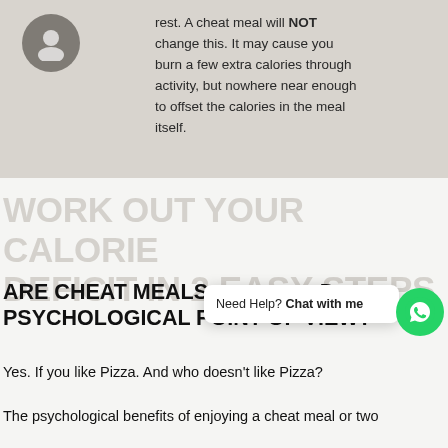[Figure (illustration): Partial card with avatar icon and text paragraph about cheat meals and calorie burning]
rest. A cheat meal will NOT change this. It may cause you burn a few extra calories through activity, but nowhere near enough to offset the calories in the meal itself.
WORK OUT YOUR CALORIE DEFICIT IN 2 EASY STEPS
ARE CHEAT MEALS GOOD FROM A PSYCHOLOGICAL POINT OF VIEW?
Yes. If you like Pizza. And who doesn't like Pizza?
The psychological benefits of enjoying a cheat meal or two